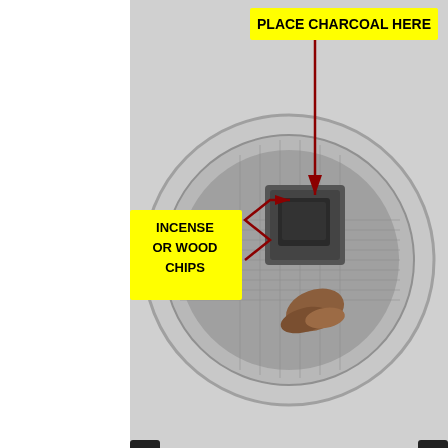[Figure (photo): Top-down photo of a smoking device/incense burner showing a metal mesh bowl with charcoal and wood chips. Annotated with yellow labels and red arrows: 'PLACE CHARCOAL HERE' pointing to dark charcoal piece, 'INCENSE OR WOOD CHIPS' pointing to wooden chips on the mesh surface.]
•
2.7  ★★★☆☆  Based on 3 Reviews
[Figure (bar-chart): Rating distribution]
[Figure (other): Green scroll-to-top button with upward arrow]